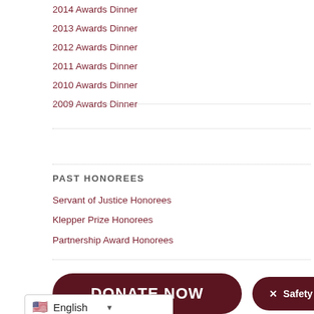2014 Awards Dinner
2013 Awards Dinner
2012 Awards Dinner
2011 Awards Dinner
2010 Awards Dinner
2009 Awards Dinner
PAST HONOREES
Servant of Justice Honorees
Klepper Prize Honorees
Partnership Award Honorees
[Figure (other): Donate Now button (dark red rounded rectangle with white bold text)]
[Figure (other): Safety Exit button (dark red rounded rectangle with white bold text and X icon)]
[Figure (other): Language selector showing English with US flag and dropdown arrow]